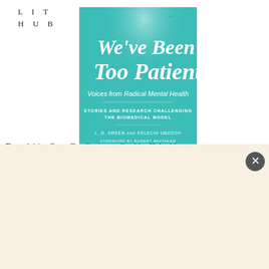LIT HUB
[Figure (illustration): Book cover of 'We've Been Too Patient: Voices from Radical Mental Health' — teal/turquoise background with white script title, subtitle 'Voices from Radical Mental Health', 'Stories and Research Challenging the Biomedical Model', authors L.D. Green and Kelechi Ubozoh, foreword by Robert Whitaker]
From We've Been Too Patient edited by Kelechi
The Best of the Literary Internet, Every Day.
Top literature stories from over 200 sources.
SUBSCRIBE